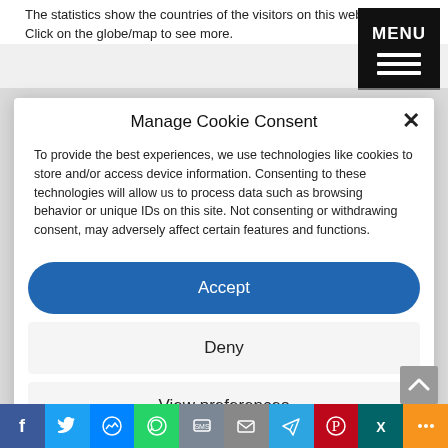The statistics show the countries of the visitors on this website. Click on the globe/map to see more.
[Figure (screenshot): Black MENU button with three horizontal white lines (hamburger menu icon) in top-right corner]
Manage Cookie Consent
To provide the best experiences, we use technologies like cookies to store and/or access device information. Consenting to these technologies will allow us to process data such as browsing behavior or unique IDs on this site. Not consenting or withdrawing consent, may adversely affect certain features and functions.
Accept
Deny
View preferences
[Figure (infographic): Social sharing bar at the bottom with icons: Facebook (blue), Twitter (light blue), Messenger (blue), WhatsApp (green), SMS (grey), Email (grey), Telegram (blue), Pinterest (red), Xing (teal), More options (orange)]